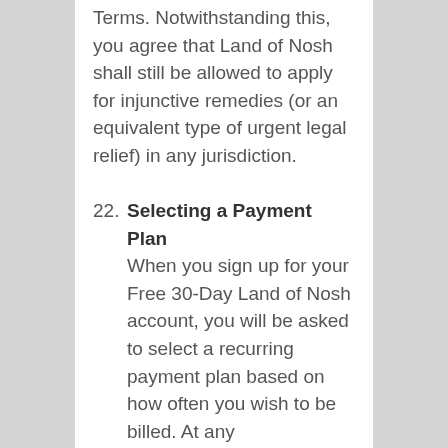Terms. Notwithstanding this, you agree that Land of Nosh shall still be allowed to apply for injunctive remedies (or an equivalent type of urgent legal relief) in any jurisdiction.
22. Selecting a Payment Plan
When you sign up for your Free 30-Day Land of Nosh account, you will be asked to select a recurring payment plan based on how often you wish to be billed. At any